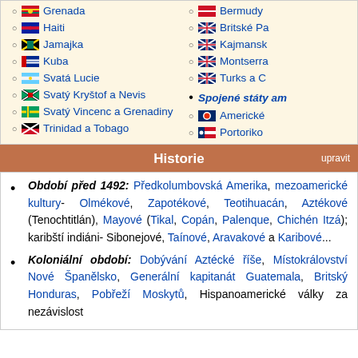Grenada
Haiti
Jamajka
Kuba
Svatá Lucie
Svatý Kryštof a Nevis
Svatý Vincenc a Grenadiny
Trinidad a Tobago
Bermudy
Britské Pa...
Kajmansk...
Montserra...
Turks a C...
Spojené státy am...
Americké...
Portoriko
Historie
Období před 1492: Předkolumbovská Amerika, mezoamerické kultury- Olmékové, Zapotékové, Teotihuacán, Aztékové (Tenochtitlán), Mayové (Tikal, Copán, Palenque, Chichén Itzá); karibští indiáni- Sibonejové, Taínové, Aravakové a Karibové...
Koloniální období: Dobývání Aztécké říše, Místokrálovství Nové Španělsko, Generální kapitanát Guatemala, Britský Honduras, Pobřeží Moskytů, Hispanoamerické války za nezávislost